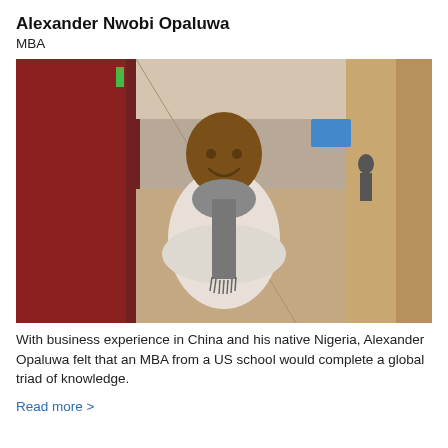Alexander Nwobi Opaluwa
MBA
[Figure (photo): Alexander Opaluwa standing with arms crossed in a corridor with red walls, wearing a light sweater and gray scarf, smiling at the camera.]
With business experience in China and his native Nigeria, Alexander Opaluwa felt that an MBA from a US school would complete a global triad of knowledge.
Read more >